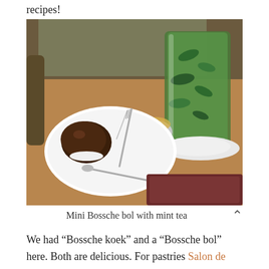recipes!
[Figure (photo): A table with a white plate holding a mini Bossche bol (chocolate pastry) and a fork, alongside a glass of mint tea and a small pot with lemon, on a wooden table.]
Mini Bossche bol with mint tea
We had “Bossche koek” and a “Bossche bol” here. Both are delicious. For pastries Salon de Roosekrans is a top choice.